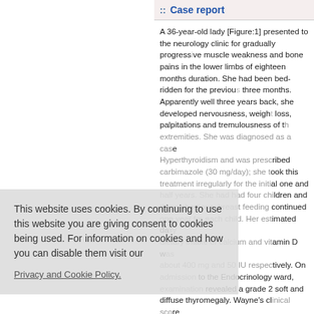:: Case report
A 36-year-old lady [Figure:1] presented to the neurology clinic for gradually progressive muscle weakness and bone pains in the lower limbs of eighteen months duration. She had been bed-ridden for the previous three months. Apparently well three years back, she developed nervousness, weight loss, palpitations and tremulousness of the extremities. She was diagnosed as a case of hyperthyroidism and was prescribed carbimazole (30 mg/day); she took this treatment irregularly for the initial one and half years. She had had four children and three abortions; breast feeding continued one year for each child. Her estimated daily dietary intake of calcium and vitamin D was about 400 mg and 50 IU respectively. On admission to the Endocrinology ward, examination revealed a grade 2 soft and diffuse thyromegaly. Wayne's clinical score was clearly diagnostic of thyrotoxicosis
This website uses cookies. By continuing to use this website you are giving consent to cookies being used. For information on cookies and how you can disable them visit our Privacy and Cookie Policy.
AGREE & PROCEED